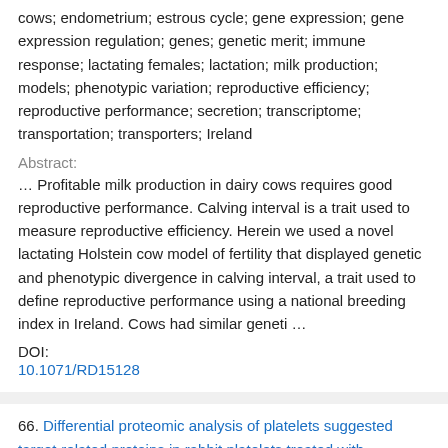cows; endometrium; estrous cycle; gene expression; gene expression regulation; genes; genetic merit; immune response; lactating females; lactation; milk production; models; phenotypic variation; reproductive efficiency; reproductive performance; secretion; transcriptome; transportation; transporters; Ireland
Abstract:
… Profitable milk production in dairy cows requires good reproductive performance. Calving interval is a trait used to measure reproductive efficiency. Herein we used a novel lactating Holstein cow model of fertility that displayed genetic and phenotypic divergence in calving interval, a trait used to define reproductive performance using a national breeding index in Ireland. Cows had similar geneti …
DOI:
10.1071/RD15128
66. Differential proteomic analysis of platelets suggested target-related proteins in rabbit platelets treated with